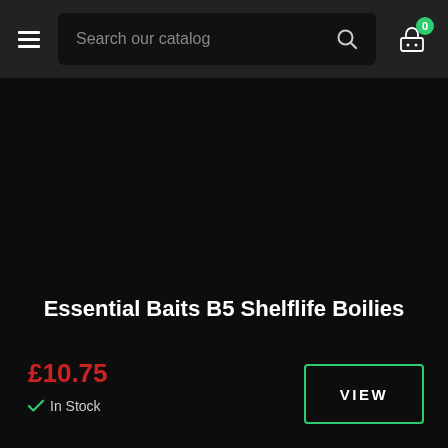Search our catalog
[Figure (photo): Dark/black product image area for Essential Baits B5 Shelflife Boilies]
Essential Baits B5 Shelflife Boilies
£10.75
In Stock
VIEW